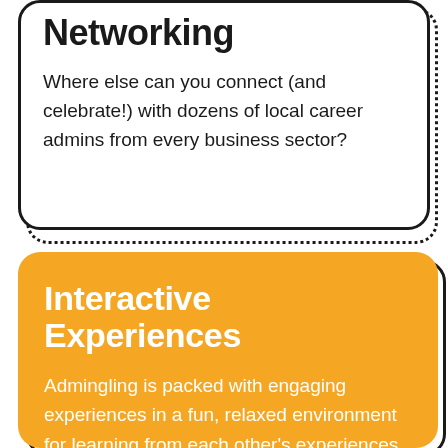Networking
Where else can you connect (and celebrate!) with dozens of local career admins from every business sector?
Interactive Experiences
Admingling is packed with engaging experiences in a fun, relaxed environment for learning from each other's experiences.